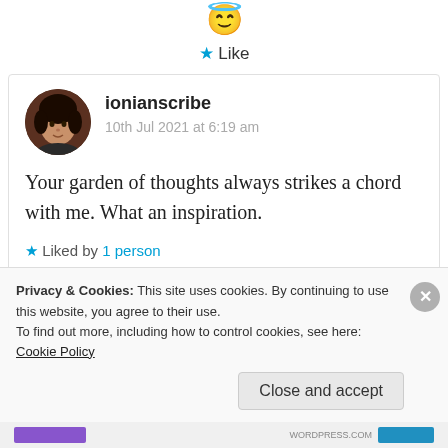[Figure (illustration): Angel emoji (halo smiley face) displayed in center]
★ Like
[Figure (photo): Circular avatar photo of ionianscribe — woman with dark curly hair]
ionianscribe
10th Jul 2021 at 6:19 am
Your garden of thoughts always strikes a chord with me. What an inspiration.
★ Liked by 1 person
Privacy & Cookies: This site uses cookies. By continuing to use this website, you agree to their use.
To find out more, including how to control cookies, see here: Cookie Policy
Close and accept